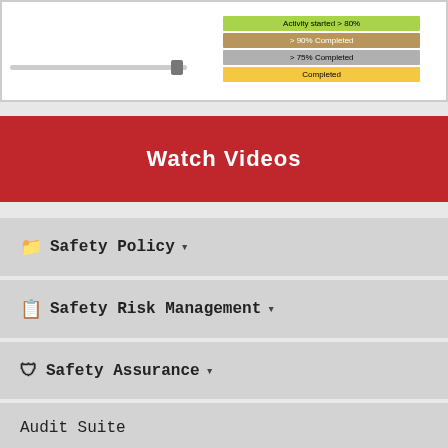[Figure (screenshot): Top panel showing a slider control on the left and a legend on the right with color-coded completion statuses: Activity started > 80% (green), > 90% Completed (brown), > 75% Completed (gray), Completed (yellow)]
Watch Videos
Safety Policy
Safety Risk Management
Safety Assurance
Audit Suite
Checklist Manager
Emergency Drills